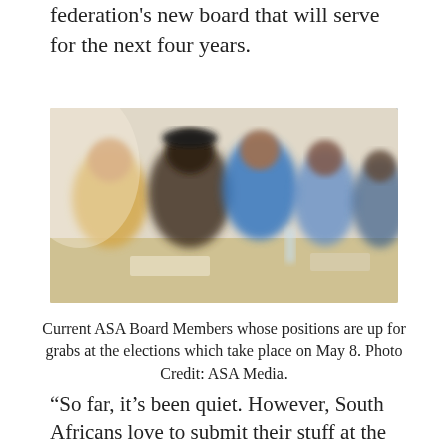federation's new board that will serve for the next four years.
[Figure (photo): Group of people seated at a table, blurred/soft-focus photo of ASA Board Members]
Current ASA Board Members whose positions are up for grabs at the elections which take place on May 8. Photo Credit: ASA Media.
“So far, it's been quiet. However, South Africans love to submit their stuff at the last minute. We expect a